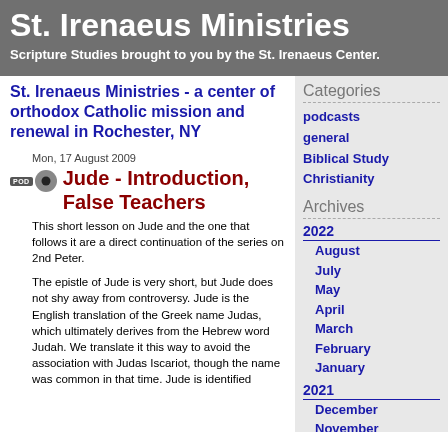St. Irenaeus Ministries
Scripture Studies brought to you by the St. Irenaeus Center.
St. Irenaeus Ministries - a center of orthodox Catholic mission and renewal in Rochester, NY
Categories
podcasts
general
Biblical Study
Christianity
Archives
2022
August
July
May
April
March
February
January
2021
December
November
October
September
August
July
June
May
April
March
Mon, 17 August 2009
Jude - Introduction, False Teachers
This short lesson on Jude and the one that follows it are a direct continuation of the series on 2nd Peter.
The epistle of Jude is very short, but Jude does not shy away from controversy. Jude is the English translation of the Greek name Judas, which ultimately derives from the Hebrew word Judah. We translate it this way to avoid the association with Judas Iscariot, though the name was common in that time. Jude is identified...